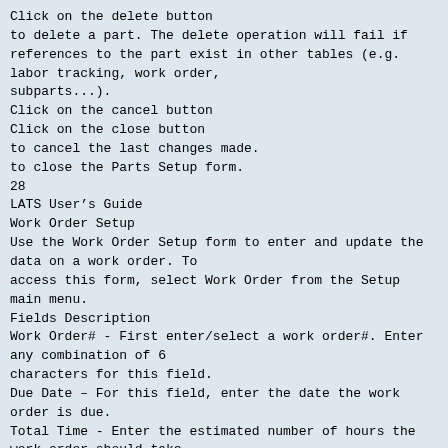Click on the delete button to delete a part. The delete operation will fail if references to the part exist in other tables (e.g. labor tracking, work order, subparts...).
Click on the cancel button
Click on the close button
to cancel the last changes made.
to close the Parts Setup form.
28
LATS User's Guide
Work Order Setup
Use the Work Order Setup form to enter and update the data on a work order. To access this form, select Work Order from the Setup main menu.
Fields Description
Work Order# - First enter/select a work order#. Enter any combination of 6 characters for this field.
Due Date – For this field, enter the date the work order is due.
Total Time - Enter the estimated number of hours the work order should take.
Part# - Fill the grid with part numbers of the parts included in the work order.
Quantity – Enter the total number of parts. The default is 1.
Work Order Setup Utilities
How to add a new work order?
To add a new work order, enter the work order# in the drop down list and then